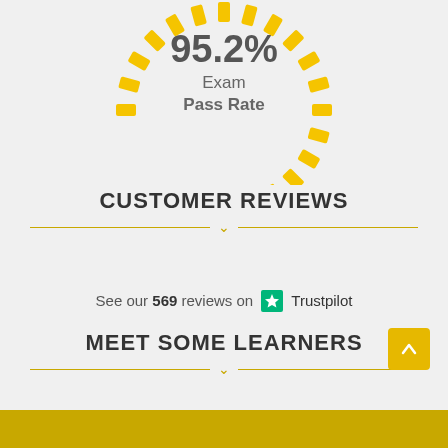[Figure (donut-chart): 95.2% Exam Pass Rate]
CUSTOMER REVIEWS
See our 569 reviews on Trustpilot
MEET SOME LEARNERS